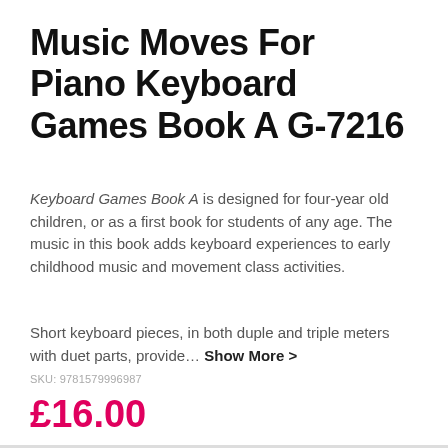Music Moves For Piano Keyboard Games Book A G-7216
Keyboard Games Book A is designed for four-year old children, or as a first book for students of any age. The music in this book adds keyboard experiences to early childhood music and movement class activities.
Short keyboard pieces, in both duple and triple meters with duet parts, provide... Show More >
SKU: 9781579996987
£16.00